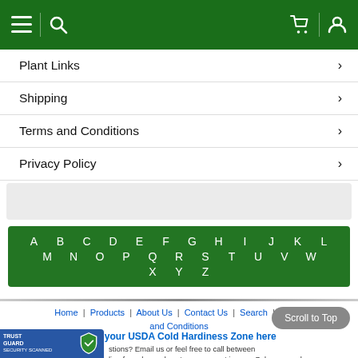Navigation header with menu, search, cart, and user icons
Plant Links
Shipping
Terms and Conditions
Privacy Policy
[Figure (other): Alphabetical index block A through Z on green background]
Home | Products | About Us | Contact Us | Search | Terms and Conditions
Find your USDA Cold Hardiness Zone here
Questions? Email us or feel free to call between. line for sales and customer support is open 7 days a week. that we do not offer on-site retail sales with...